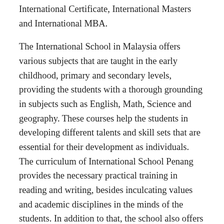International Certificate, International Masters and International MBA.
The International School in Malaysia offers various subjects that are taught in the early childhood, primary and secondary levels, providing the students with a thorough grounding in subjects such as English, Math, Science and geography. These courses help the students in developing different talents and skill sets that are essential for their development as individuals. The curriculum of International School Penang provides the necessary practical training in reading and writing, besides inculcating values and academic disciplines in the minds of the students. In addition to that, the school also offers foreign language and cultural learning modules that help build connections between cultures.
The primary module of the International School Penang focuses on the history of Malaysia. This was used by the